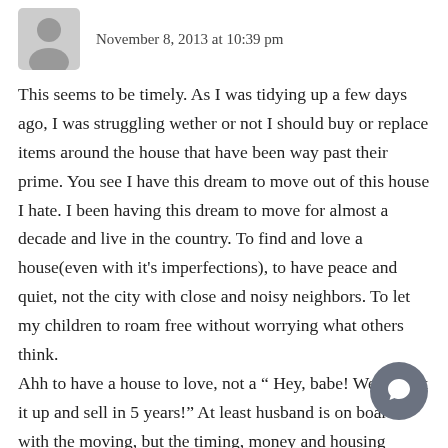November 8, 2013 at 10:39 pm
This seems to be timely. As I was tidying up a few days ago, I was struggling wether or not I should buy or replace items around the house that have been way past their prime. You see I have this dream to move out of this house I hate. I been having this dream to move for almost a decade and live in the country. To find and love a house(even with it's imperfections), to have peace and quiet, not the city with close and noisy neighbors. To let my children to roam free without worrying what others think.
Ahh to have a house to love, not a “ Hey, babe! We can fix it up and sell in 5 years!” At least husband is on board with the moving, but the timing, money and housing ma against us.
So back to the subject- do you spend money on a house